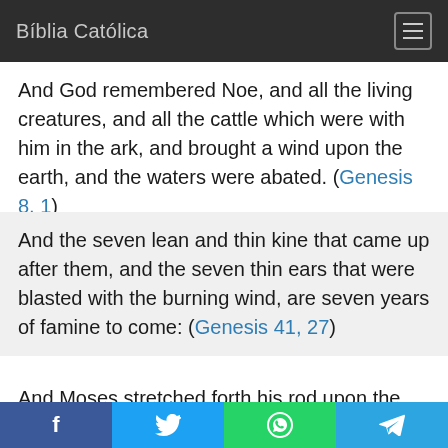Bíblia Católica
And God remembered Noe, and all the living creatures, and all the cattle which were with him in the ark, and brought a wind upon the earth, and the waters were abated. (Genesis 8, 1)
And the seven lean and thin kine that came up after them, and the seven thin ears that were blasted with the burning wind, are seven years of famine to come: (Genesis 41, 27)
And Moses stretched forth his rod upon the land of Egypt: and the Lord brought a burning wind all that day, and night: and when it was morning, the burning
f  [twitter]  [whatsapp]  [telegram]